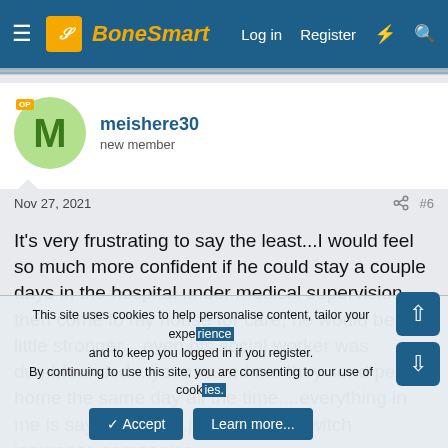BoneSmart — Log in  Register
meishere30
new member
Nov 27, 2021  #6
It's very frustrating to say the least...I would feel so much more confident if he could stay a couple days in the hospital under medical supervision then come to my house for care, he would be a little stronger....even his social worker was dumbfounded....yet assured me they send people home the same day all the time....everything in me is saying ....no....just wait and switch insurance companies
This site uses cookies to help personalise content, tailor your experience and to keep you logged in if you register.
By continuing to use this site, you are consenting to our use of cookies.
Accept  Learn more...